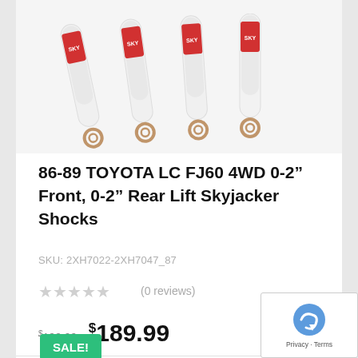[Figure (photo): Four white Skyjacker shock absorbers with red logos arranged diagonally, showing the bottom mounting eyes]
86-89 TOYOTA LC FJ60 4WD 0-2″ Front, 0-2″ Rear Lift Skyjacker Shocks
SKU: 2XH7022-2XH7047_87
★★★★★ (0 reviews)
$199.99  $189.99
[Figure (other): SALE! badge (green) partially visible at bottom of page]
[Figure (other): Google reCAPTCHA widget overlay in bottom right corner showing reCAPTCHA logo and Privacy - Terms text]